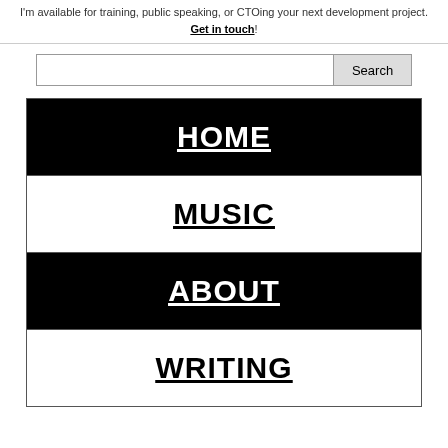I'm available for training, public speaking, or CTOing your next development project. Get in touch!
HOME
MUSIC
ABOUT
WRITING